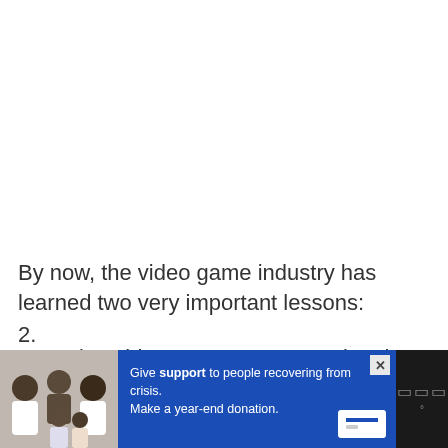By now, the video game industry has learned two very important lessons:
Using video games as promotional tools to sell movies or any other products is a bad idea.
[Figure (other): Bottom advertisement banner with photo of family, blue background ad panel with text 'Give support to people recovering from crisis. Make a year-end donation.' and close button, plus dark navigation bar on right with dots icon.]